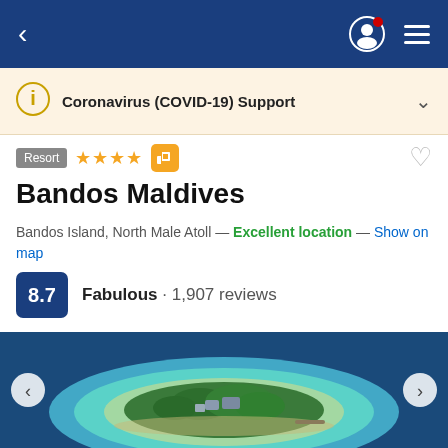[Figure (screenshot): Mobile app navigation bar with back arrow, user profile icon with red notification dot, and hamburger menu on dark blue background]
Coronavirus (COVID-19) Support
Resort ★★★★ 👍
Bandos Maldives
Bandos Island, North Male Atoll — Excellent location — Show on map
8.7 Fabulous · 1,907 reviews
[Figure (photo): Aerial photograph of Bandos Island in North Male Atoll, Maldives, showing a lush green tropical island surrounded by turquoise shallow water and deep blue ocean]